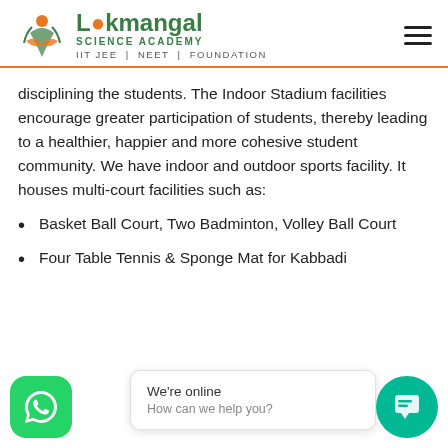[Figure (logo): Lokmangal Science Academy logo with green text and orange underline, tagline IIT JEE | NEET | FOUNDATION]
disciplining the students. The Indoor Stadium facilities encourage greater participation of students, thereby leading to a healthier, happier and more cohesive student community. We have indoor and outdoor sports facility. It houses multi-court facilities such as:
Basket Ball Court, Two Badminton, Volley Ball Court
Four Table Tennis & Sponge Mat for Kabbadi